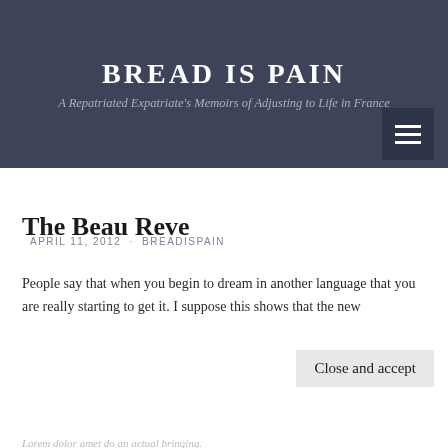BREAD IS PAIN
A Repatriated Expatriate's Memoirs of Adjusting to Life in France
The Beau Reve
APRIL 11, 2012 · BREADISPAIN
People say that when you begin to dream in another language that you are really starting to get it.   I suppose this shows that the new
Privacy & Cookies: This site uses cookies. By continuing to use this website, you agree to their use.
To find out more, including how to control cookies, see here:
Cookie Policy
Close and accept